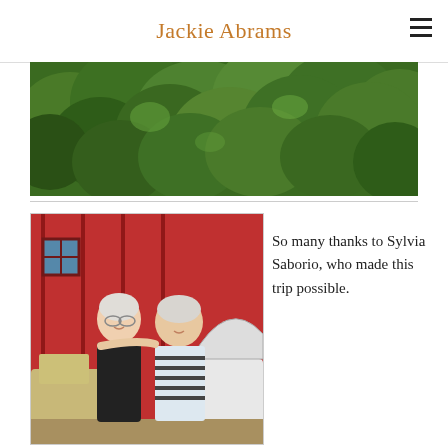Jackie Abrams
[Figure (photo): Aerial view of dense green tropical forest canopy]
[Figure (photo): Two elderly people smiling in front of a red building with a car in the background]
So many thanks to Sylvia Saborio, who made this trip possible.